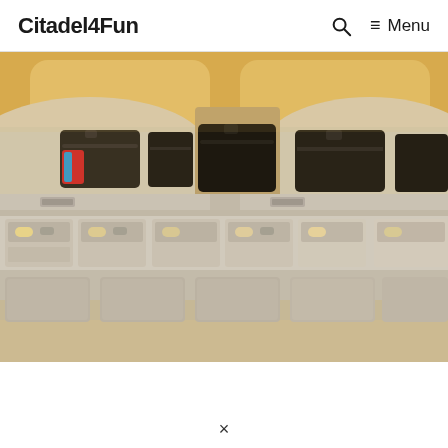Citadel4Fun  Menu
[Figure (photo): Interior of an airplane cabin showing open overhead luggage compartments with suitcases stored inside. The compartments are open and contain dark-colored rolling luggage and bags. The cabin ceiling is lit with warm amber lighting. Below the overhead bins are the closed compartment panels and reading light/air vent modules.]
×